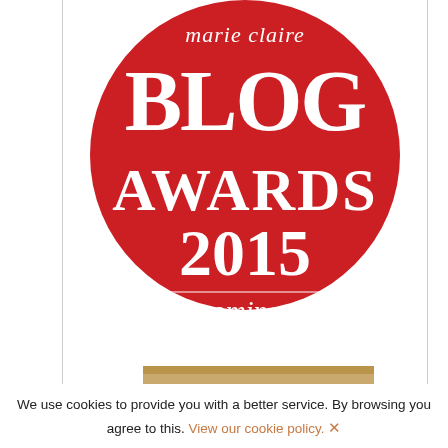[Figure (logo): Marie Claire Blog Awards 2015 nominee badge — red circle with white serif text reading 'marie claire BLOG AWARDS 2015' with a horizontal divider line and 'nominee' in italic below]
[Figure (logo): Partially visible gold/tan award badge at the bottom of the page]
We use cookies to provide you with a better service. By browsing you agree to this. View our cookie policy. ✕